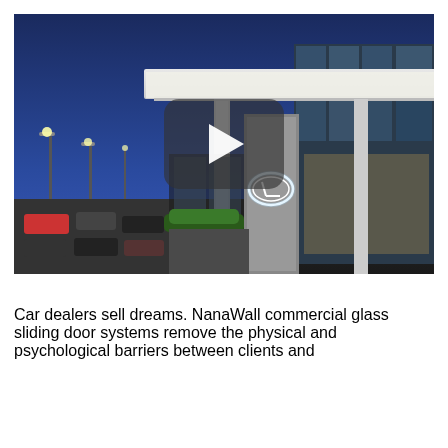[Figure (photo): Night-time exterior photo of a modern Lexus car dealership showing illuminated canopy, glass facade with the Lexus logo on a concrete pillar, parking lot with cars, and a video play button overlay in the center.]
Car dealers sell dreams. NanaWall commercial glass sliding door systems remove the physical and psychological barriers between clients and